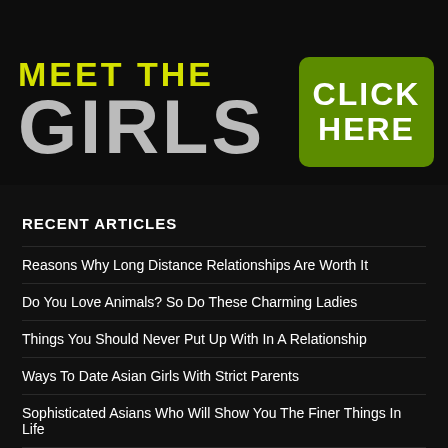[Figure (photo): Dark advertisement banner with 'MEET THE GIRLS' text in large yellow/grey letters on black background, and a green 'CLICK HERE' button on the right side]
RECENT ARTICLES
Reasons Why Long Distance Relationships Are Worth It
Do You Love Animals? So Do These Charming Ladies
Things You Should Never Put Up With In A Relationship
Ways To Date Asian Girls With Strict Parents
Sophisticated Asians Who Will Show You The Finer Things In Life
AsianDate Reviews How You Can Avoid Dating The Wrong People
Things You Need to Know about Dating Asian Women